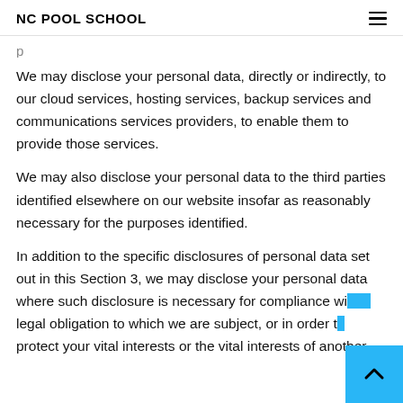NC POOL SCHOOL
We may disclose your personal data, directly or indirectly, to our cloud services, hosting services, backup services and communications services providers, to enable them to provide those services.
We may also disclose your personal data to the third parties identified elsewhere on our website insofar as reasonably necessary for the purposes identified.
In addition to the specific disclosures of personal data set out in this Section 3, we may disclose your personal data where such disclosure is necessary for compliance with a legal obligation to which we are subject, or in order to protect your vital interests or the vital interests of another